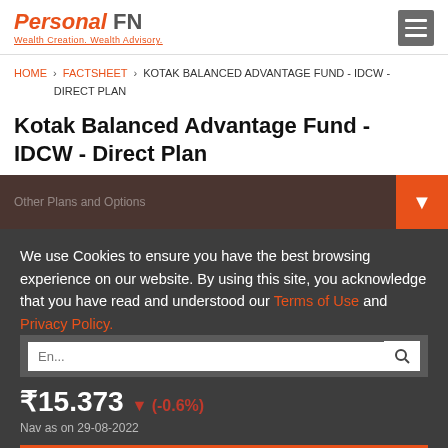Personal FN - Wealth Creation. Wealth Advisory.
HOME > FACTSHEET > KOTAK BALANCED ADVANTAGE FUND - IDCW - DIRECT PLAN
Kotak Balanced Advantage Fund - IDCW - Direct Plan
We use Cookies to ensure you have the best browsing experience on our website. By using this site, you acknowledge that you have read and understood our Terms of Use and Privacy Policy.
I Accept!
₹15.373 ▼ (-0.6%)
Nav as on 29-08-2022
|  |  |
| --- | --- |
| Previous Nav | ₹ 15.466 |
| Net Change on 29-08-2022 | ₹-0.09 |